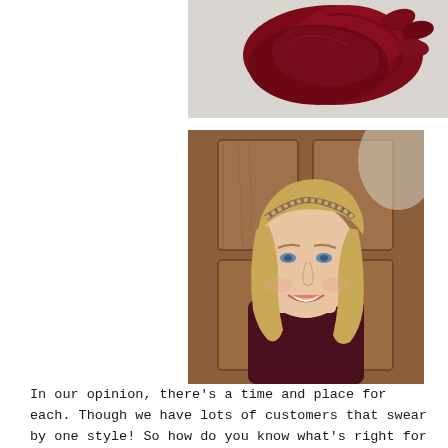[Figure (photo): A dark red/maroon fabric item (hat or accessory) photographed against a white/light background, viewed from above.]
[Figure (photo): A smiling blonde woman wearing a patterned headband, taking a selfie in front of a wooden door.]
In our opinion, there's a time and place for each. Though we have lots of customers that swear by one style! So how do you know what's right for